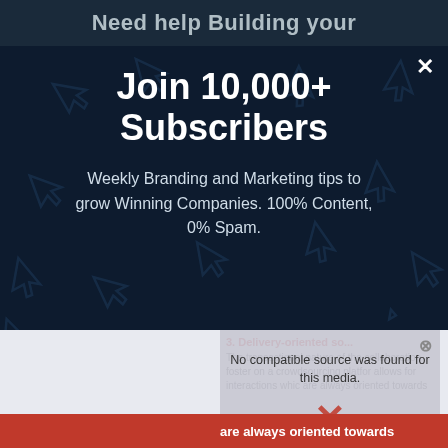Need help Building your
Join 10,000+ Subscribers
Weekly Branding and Marketing tips to grow Winning Companies. 100% Content, 0% Spam.
No compatible source was found for this media.
3. Delivery-oriented so...
The transactional nature of the collaboration fostered on a crowdsourcing platform allows for interactions which are always oriented towards
Email
are always oriented towards